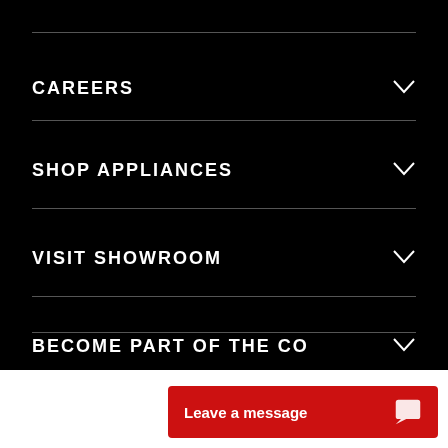CAREERS
SHOP APPLIANCES
VISIT SHOWROOM
BECOME PART OF THE CO
Leave a message